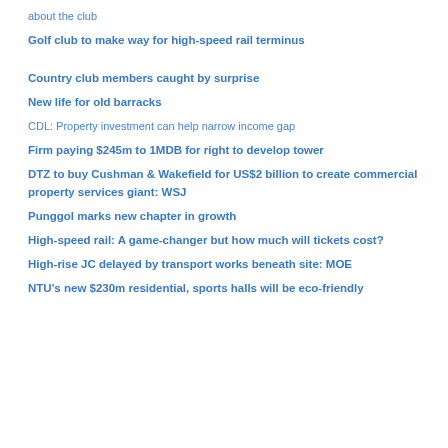about the club
Golf club to make way for high-speed rail terminus
Country club members caught by surprise
New life for old barracks
CDL: Property investment can help narrow income gap
Firm paying $245m to 1MDB for right to develop tower
DTZ to buy Cushman & Wakefield for US$2 billion to create commercial property services giant: WSJ
Punggol marks new chapter in growth
High-speed rail: A game-changer but how much will tickets cost?
High-rise JC delayed by transport works beneath site: MOE
NTU's new $230m residential, sports halls will be eco-friendly